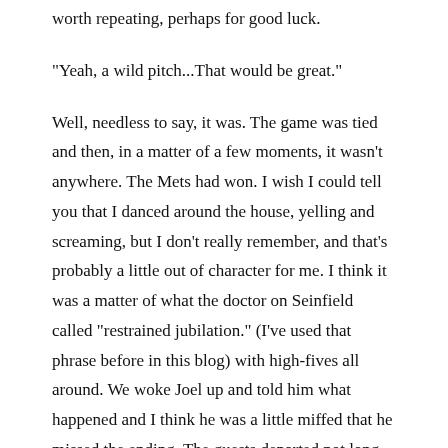worth repeating, perhaps for good luck.
"Yeah, a wild pitch...That would be great."
Well, needless to say, it was. The game was tied and then, in a matter of a few moments, it wasn't anywhere. The Mets had won. I wish I could tell you that I danced around the house, yelling and screaming, but I don't really remember, and that's probably a little out of character for me. I think it was a matter of what the doctor on Seinfield called "restrained jubilation." (I've used that phrase before in this blog) with high-fives all around. We woke Joel up and told him what happened and I think he was a little miffed that he missed the ending. The guests departed not long thereafter and somehow, I went to sleep. The next morning, we got up pretty early for a Sunday (7:30 am or